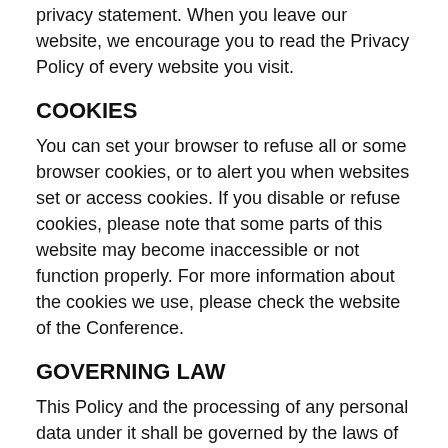privacy statement. When you leave our website, we encourage you to read the Privacy Policy of every website you visit.
COOKIES
You can set your browser to refuse all or some browser cookies, or to alert you when websites set or access cookies. If you disable or refuse cookies, please note that some parts of this website may become inaccessible or not function properly. For more information about the cookies we use, please check the website of the Conference.
GOVERNING LAW
This Policy and the processing of any personal data under it shall be governed by the laws of Hungary including any applicable EU legislation with respect to personal data protection.
CHANGES TO THIS POLICY
We reserve the right to modify this Policy from time to